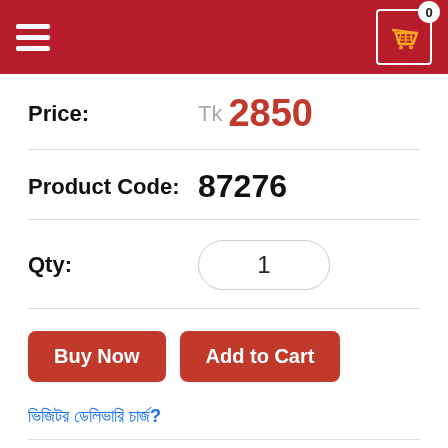Navigation bar with hamburger menu and cart icon showing 0 items
Price: Tk 2850
Product Code: 87276
Qty: 1
Buy Now | Add to Cart
ভিজিটর ডেলিভারি চার্জ?
Order by a call
8801972277444
Description
One A Day Women's 50+ Healthy...